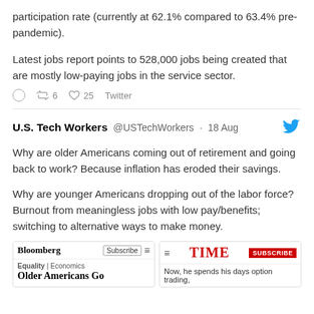participation rate (currently at 62.1% compared to 63.4% pre-pandemic).
Latest jobs report points to 528,000 jobs being created that are mostly low-paying jobs in the service sector.
⟳ 6   ♡ 25   Twitter
U.S. Tech Workers @USTechWorkers · 18 Aug
Why are older Americans coming out of retirement and going back to work? Because inflation has eroded their savings.
Why are younger Americans dropping out of the labor force? Burnout from meaningless jobs with low pay/benefits; switching to alternative ways to make money.
[Figure (screenshot): Two media cards side by side: Bloomberg card showing 'Older Americans Go' headline, and TIME card showing subscription button and body text 'Now, he spends his days option trading,']